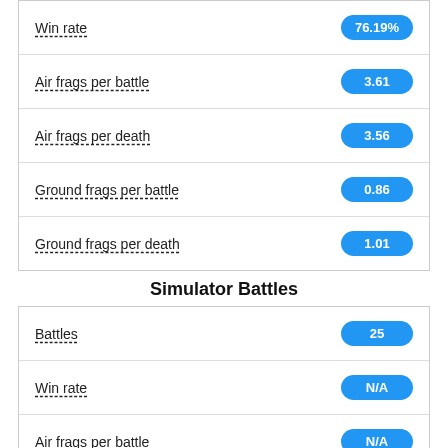Win rate — 76.19%
Air frags per battle — 3.61
Air frags per death — 3.56
Ground frags per battle — 0.86
Ground frags per death — 1.01
Simulator Battles
Battles — 25
Win rate — N/A
Air frags per battle — N/A
Air frags per death — 2
N/A